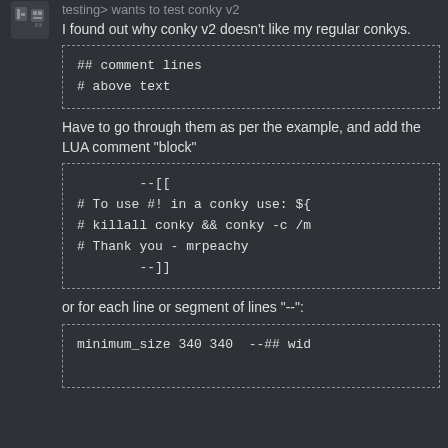[Figure (other): User avatar icon with tools/wrench]
testing> wants to test conky v2
I found out why conky v2 doesn't like my regular conkys.
## comment lines
# above text
Have to go through them as per the example, and add the LUA comment "block"
--[[
# To use #! in a conky use: ${
# killall conky && conky -c /m
# Thank you - mrpeachy
--]]
or for each line or segment of lines "--":
minimum_size 340 340   --## wid